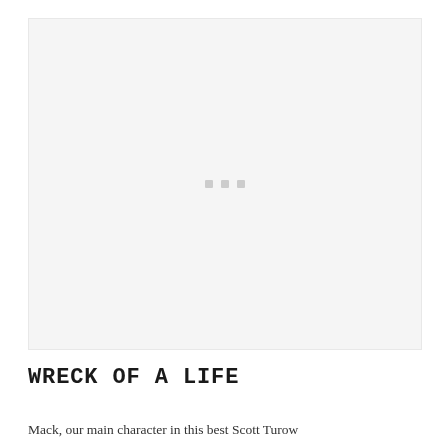[Figure (photo): Large image placeholder area with light gray background and three small gray dots centered, indicating an image loading or unavailable state]
WRECK OF A LIFE
Mack, our main character in this best Scott Turow